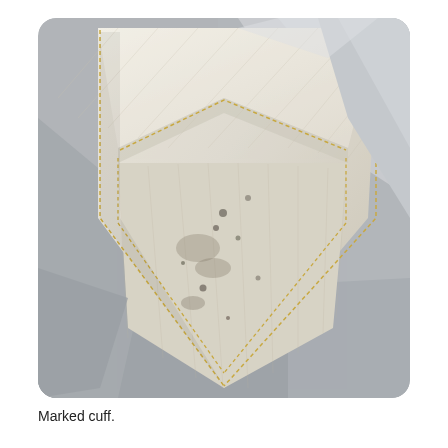[Figure (photo): Close-up photograph of a fabric cuff, showing cream/off-white denim or canvas material with yellow topstitching forming a pointed/diamond-shaped cuff fold. The fabric shows marks, small dark spots/stains, and soil on the surface. The background shows grey fabric. The image has rounded corners.]
Marked cuff.